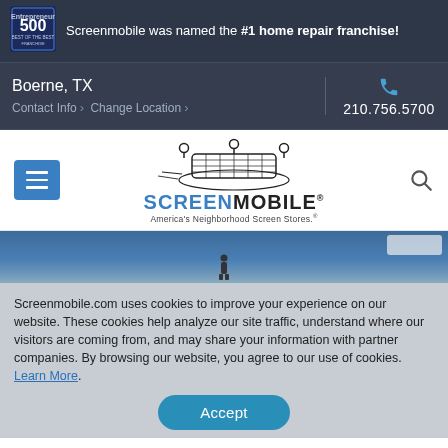Screenmobile was named the #1 home repair franchise!
Boerne, TX
Contact Info > Change Location >
210.756.5700
[Figure (logo): Screenmobile logo with van and screen graphic. Text: SCREENMOBILE. America's Neighborhood Screen Stores.]
Screenmobile.com uses cookies to improve your experience on our website. These cookies help analyze our site traffic, understand where our visitors are coming from, and may share your information with partner companies. By browsing our website, you agree to our use of cookies. Learn More.
Accept